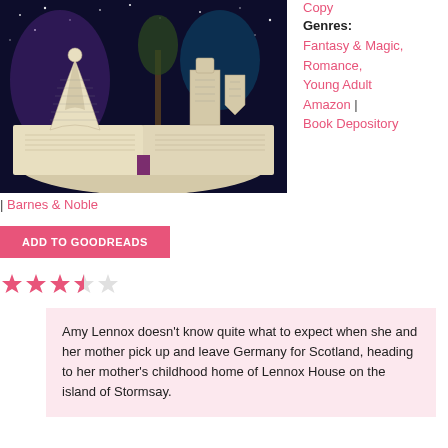[Figure (photo): Fantasy book sculpture photo showing an open book with paper figures of a woman in a gown and a knight with shield, set against a starry night sky background with a glowing tree]
Copy
Genres: Fantasy & Magic, Romance, Young Adult Amazon | Book Depository
| Barnes & Noble
ADD TO GOODREADS
[Figure (other): Star rating: 2.5 out of 5 stars (2 full pink stars, 1 half pink star, 2 empty stars)]
Amy Lennox doesn't know quite what to expect when she and her mother pick up and leave Germany for Scotland, heading to her mother's childhood home of Lennox House on the island of Stormsay.